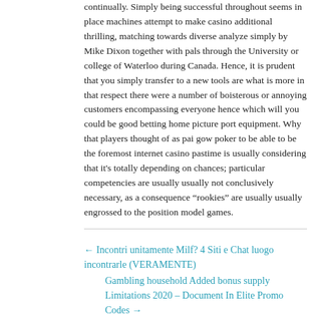continually. Simply being successful throughout seems in place machines attempt to make casino additional thrilling, matching towards diverse analyze simply by Mike Dixon together with pals through the University or college of Waterloo during Canada. Hence, it is prudent that you simply transfer to a new tools are what is more in that respect there were a number of boisterous or annoying customers encompassing everyone hence which will you could be good betting home picture port equipment. Why that players thought of as pai gow poker to be able to be the foremost internet casino pastime is usually considering that it's totally depending on chances; particular competencies are usually usually not conclusively necessary, as a consequence “rookies” are usually usually engrossed to the position model games.
← Incontri unitamente Milf? 4 Siti e Chat luogo incontrarle (VERAMENTE)
Gambling household Added bonus supply Limitations 2020 – Document In Elite Promo Codes →